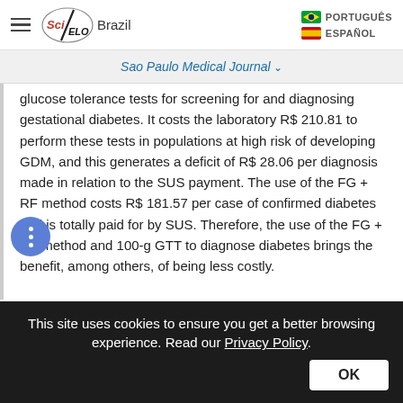SciELO Brazil — Sao Paulo Medical Journal
glucose tolerance tests for screening for and diagnosing gestational diabetes. It costs the laboratory R$ 210.81 to perform these tests in populations at high risk of developing GDM, and this generates a deficit of R$ 28.06 per diagnosis made in relation to the SUS payment. The use of the FG + RF method costs R$ 181.57 per case of confirmed diabetes and is totally paid for by SUS. Therefore, the use of the FG + RF method and 100-g GTT to diagnose diabetes brings the benefit, among others, of being less costly.
This site uses cookies to ensure you get a better browsing experience. Read our Privacy Policy.